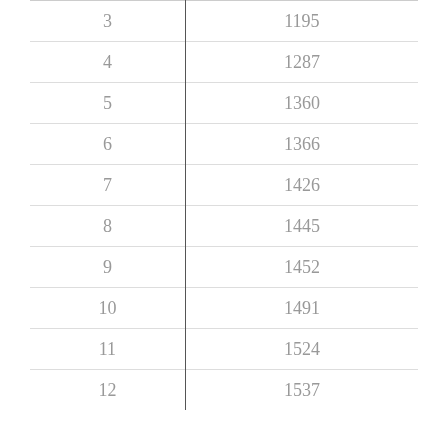| 3 | 1195 |
| 4 | 1287 |
| 5 | 1360 |
| 6 | 1366 |
| 7 | 1426 |
| 8 | 1445 |
| 9 | 1452 |
| 10 | 1491 |
| 11 | 1524 |
| 12 | 1537 |